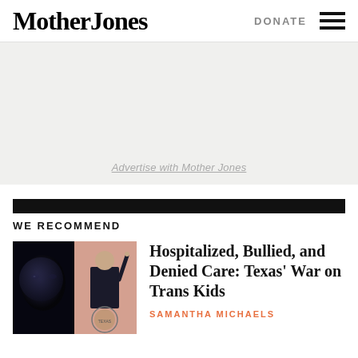Mother Jones  DONATE
[Figure (other): Advertisement placeholder area with light gray background and text 'Advertise with Mother Jones']
WE RECOMMEND
[Figure (photo): Two-panel thumbnail: left panel shows a close-up dark portrait of a face, right panel shows a pink-toned image of a man in a suit pointing upward with a Texas seal at the bottom]
Hospitalized, Bullied, and Denied Care: Texas’ War on Trans Kids
SAMANTHA MICHAELS